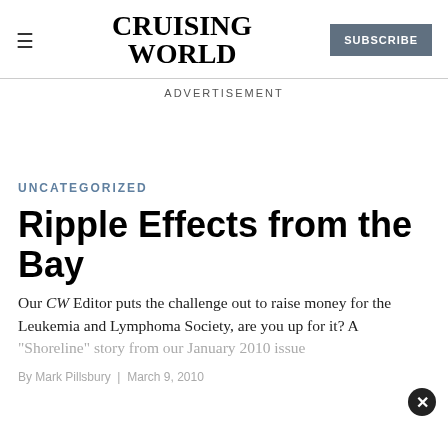CRUISING WORLD | SUBSCRIBE
ADVERTISEMENT
UNCATEGORIZED
Ripple Effects from the Bay
Our CW Editor puts the challenge out to raise money for the Leukemia and Lymphoma Society, are you up for it? A "Shoreline" story from our January 2010 issue
By Mark Pillsbury  |  March 9, 2010